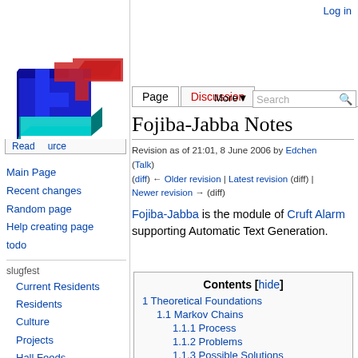Log in
[Figure (logo): 4chan-style pixel art logo with blue, red, and cyan blocks forming a stylized '4' shape]
Main Page
Recent changes
Random page
Help creating page
todo
slugfest
Current Residents
Residents
Culture
Projects
Hall Feeds
Places
Back in the day
Fojiba-Jabba Notes
Revision as of 21:01, 8 June 2006 by Edchen (Talk)
(diff) ← Older revision | Latest revision (diff) | Newer revision → (diff)
Fojiba-Jabba is the module of Cruft Alarm supporting Automatic Text Generation.
| Contents [hide] |
| --- |
| 1 Theoretical Foundations |
| 1.1 Markov Chains |
| 1.1.1 Process |
| 1.1.2 Problems |
| 1.1.3 Possible Solutions |
| 1.2 Recursive Transition Networks |